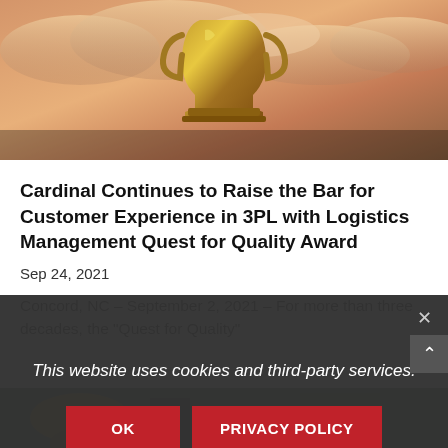[Figure (photo): Trophy cup against a warm sunset sky with clouds, golden tones]
Cardinal Continues to Raise the Bar for Customer Experience in 3PL with Logistics Management Quest for Quality Award
Sep 24, 2021
Concord, NC – September 2, 2021 – For more than three decades, the “Quest for Quality”
This website uses cookies and third-party services.
OK   PRIVACY POLICY
[Figure (photo): Partial view of trophies and people at bottom of page]